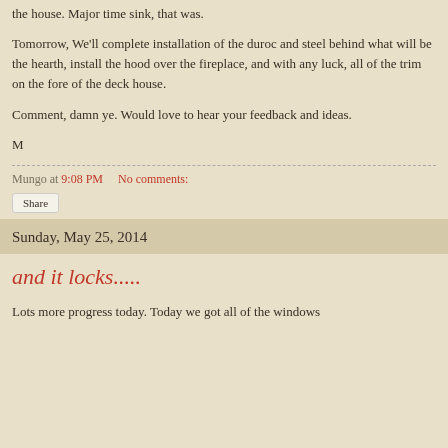the house.  Major time sink, that was.
Tomorrow, We'll complete installation of the duroc and steel behind what will be the hearth, install the hood over the fireplace, and with any luck, all of the trim on the fore of the deck house.
Comment, damn ye.  Would love to hear your feedback and ideas.
M
Mungo at 9:08 PM    No comments:
Share
Sunday, May 25, 2014
and it locks.....
Lots more progress today.  Today we got all of the windows